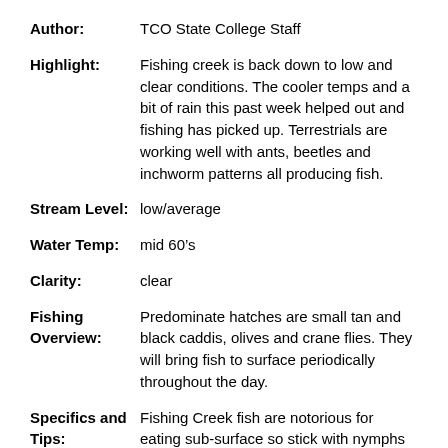Author: TCO State College Staff
Highlight: Fishing creek is back down to low and clear conditions. The cooler temps and a bit of rain this past week helped out and fishing has picked up. Terrestrials are working well with ants, beetles and inchworm patterns all producing fish.
Stream Level: low/average
Water Temp: mid 60’s
Clarity: clear
Fishing Overview: Predominate hatches are small tan and black caddis, olives and crane flies. They will bring fish to surface periodically throughout the day.
Specifics and Tips: Fishing Creek fish are notorious for eating sub-surface so stick with nymphs unless you see fish actively feeding on top. Dry-Dropper rigs are an effective technique this time of year. Try smaller streamers along the banks if the water is up. THINK